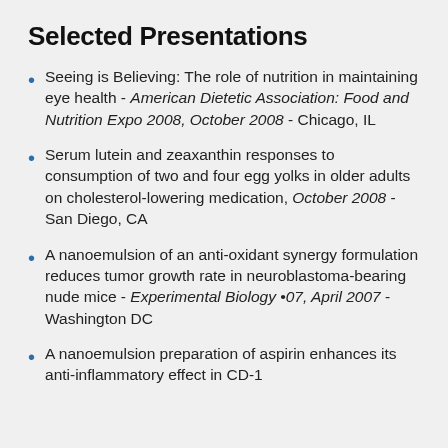Selected Presentations
Seeing is Believing: The role of nutrition in maintaining eye health - American Dietetic Association: Food and Nutrition Expo 2008, October 2008 - Chicago, IL
Serum lutein and zeaxanthin responses to consumption of two and four egg yolks in older adults on cholesterol-lowering medication, October 2008 - San Diego, CA
A nanoemulsion of an anti-oxidant synergy formulation reduces tumor growth rate in neuroblastoma-bearing nude mice - Experimental Biology •07, April 2007 - Washington DC
A nanoemulsion preparation of aspirin enhances its anti-inflammatory effect in CD-1